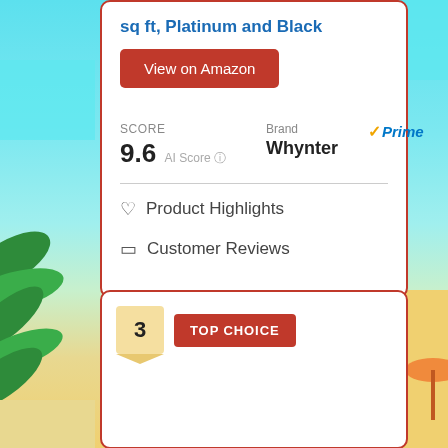sq ft, Platinum and Black
View on Amazon
SCORE 9.6 AI Score  Brand Whynter  Prime
Product Highlights
Customer Reviews
3  TOP CHOICE